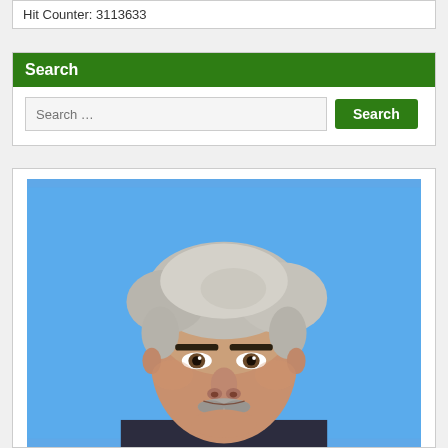Hit Counter: 3113633
Search
Search …
[Figure (photo): Headshot portrait of a middle-aged man with grey-white hair and a grey mustache, wearing a suit, against a blue background]
Search